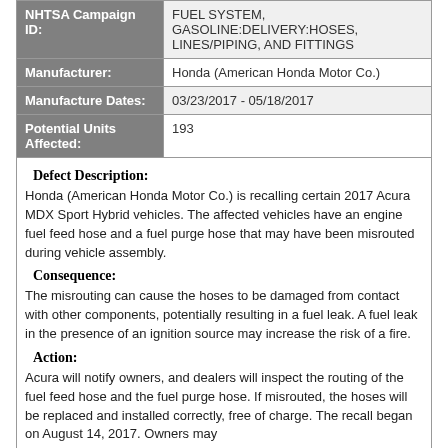| Field | Value |
| --- | --- |
| NHTSA Campaign ID: | FUEL SYSTEM, GASOLINE:DELIVERY:HOSES, LINES/PIPING, AND FITTINGS |
| Manufacturer: | Honda (American Honda Motor Co.) |
| Manufacture Dates: | 03/23/2017 - 05/18/2017 |
| Potential Units Affected: | 193 |
Defect Description:
Honda (American Honda Motor Co.) is recalling certain 2017 Acura MDX Sport Hybrid vehicles. The affected vehicles have an engine fuel feed hose and a fuel purge hose that may have been misrouted during vehicle assembly.
Consequence:
The misrouting can cause the hoses to be damaged from contact with other components, potentially resulting in a fuel leak. A fuel leak in the presence of an ignition source may increase the risk of a fire.
Action:
Acura will notify owners, and dealers will inspect the routing of the fuel feed hose and the fuel purge hose. If misrouted, the hoses will be replaced and installed correctly, free of charge. The recall began on August 14, 2017. Owners may
[Figure (other): Lidl advertisement banner: 'Better Food. Betterer Prices' with Lidl logo and navigation icon]